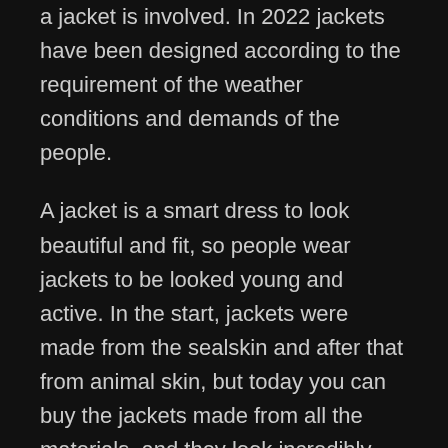a jacket is involved. In 2022 jackets have been designed according to the requirement of the weather conditions and demands of the people.
A jacket is a smart dress to look beautiful and fit, so people wear jackets to be looked young and active. In the start, jackets were made from the sealskin and after that from animal skin, but today you can buy the jackets made from all the materials, and they look incredibly attractive. They are best fitted according to your body and personality.
Jackets in Trend in 2022
As we know the trend to wear stylish jackets has increased gradually over the last decade, and the trend maker has also promoted the styling of